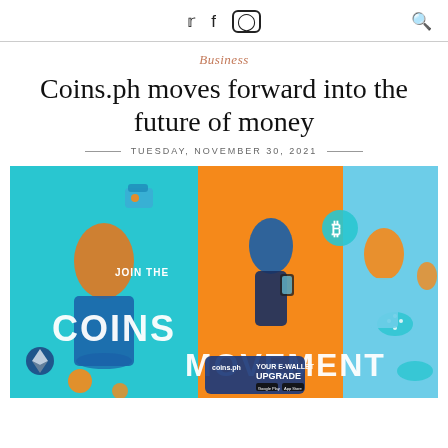Twitter | Facebook | Instagram | Search
Business
Coins.ph moves forward into the future of money
TUESDAY, NOVEMBER 30, 2021
[Figure (photo): Promotional banner for Coins.ph showing three people in orange outfits on blue and orange backgrounds with text 'JOIN THE COINS MOVEMENT' and 'YOUR E-WALLET UPGRADE' with app store download buttons]